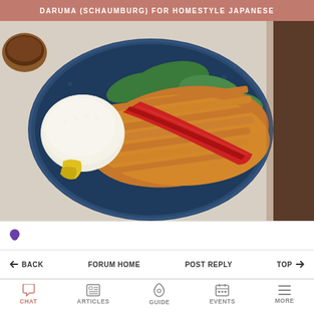DARUMA (SCHAUMBURG) FOR HOMESTYLE JAPANESE
[Figure (photo): A Japanese tonkatsu dish served on a blue ceramic plate. The breaded and fried pork cutlet is topped with red ketchup/sauce, accompanied by a mound of white rice and garnished with green leafy vegetables and a yellow pickled item.]
← BACK   FORUM HOME   POST REPLY   TOP ↑
CHAT   ARTICLES   GUIDE   EVENTS   MORE